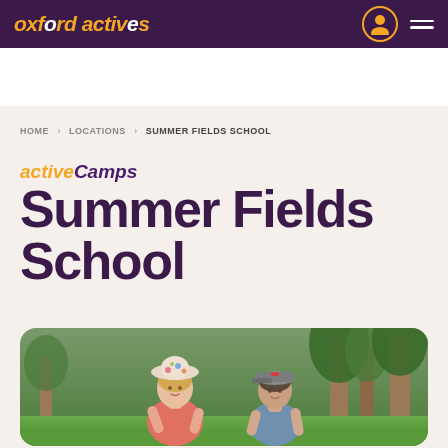Oxford Actives Schools — navigation header
HOME > LOCATIONS > SUMMER FIELDS SCHOOL
activeCamps Summer Fields School
[Figure (photo): Two children playing outdoors on a grass field with trees in the background. A girl wearing a floral hat and pink top, and a boy wearing a grey cap, at Summer Fields School.]